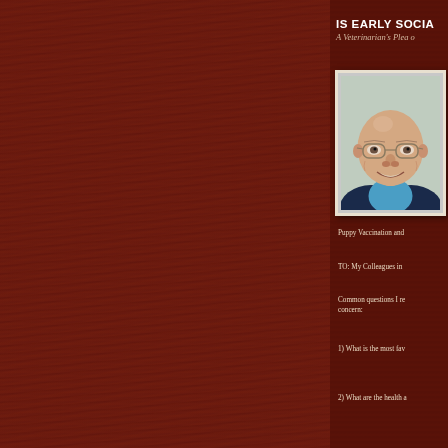IS EARLY SOCIA
A Veterinarian's Plea o
[Figure (photo): Portrait photo of an elderly bald man with glasses, smiling, wearing a blue jacket and light blue collared shirt, against a light patterned background]
Puppy Vaccination and
TO: My Colleagues in
Common questions I re concern:
1) What is the most fav
2) What are the health a